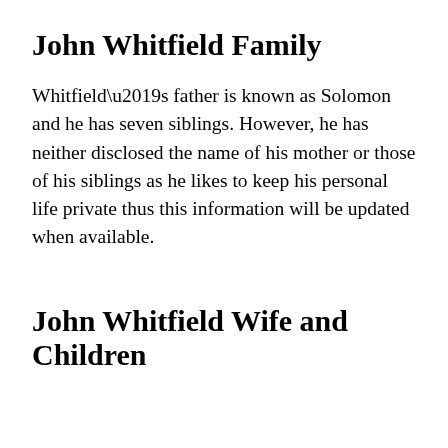John Whitfield Family
Whitfield’s father is known as Solomon and he has seven siblings. However, he has neither disclosed the name of his mother or those of his siblings as he likes to keep his personal life private thus this information will be updated when available.
John Whitfield Wife and Children